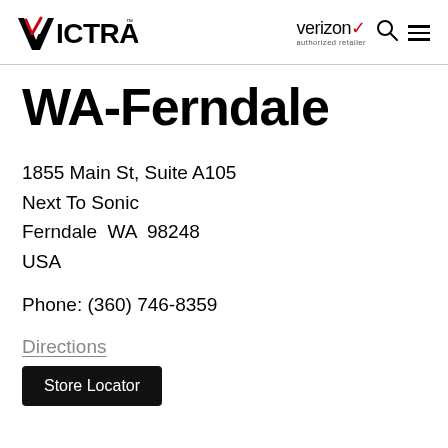VICTRA | verizon authorized retailer
WA-Ferndale
1855 Main St, Suite A105
Next To Sonic
Ferndale  WA  98248
USA
Phone: (360) 746-8359
Directions
Store Locator